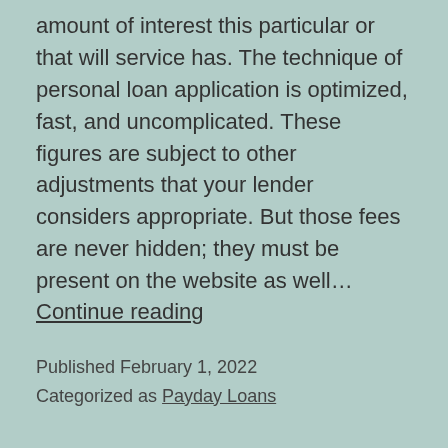amount of interest this particular or that will service has. The technique of personal loan application is optimized, fast, and uncomplicated. These figures are subject to other adjustments that your lender considers appropriate. But those fees are never hidden; they must be present on the website as well… Continue reading
Published February 1, 2022
Categorized as Payday Loans
Installment Loans For Bad Credit In New York